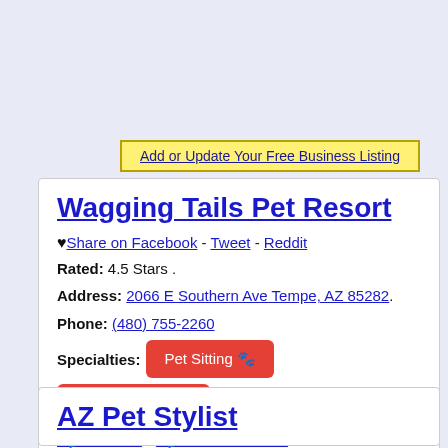Add or Update Your Free Business Listing
Wagging Tails Pet Resort
♥ Share on Facebook - Tweet - Reddit
Rated: 4.5 Stars .
Address: 2066 E Southern Ave Tempe, AZ 85282.
Phone: (480) 755-2260
Specialties: Pet Sitting 🐾 Pet Groomers 🐾 .
🐾 Reviews - 🐾 Write A Review
AZ Pet Stylist